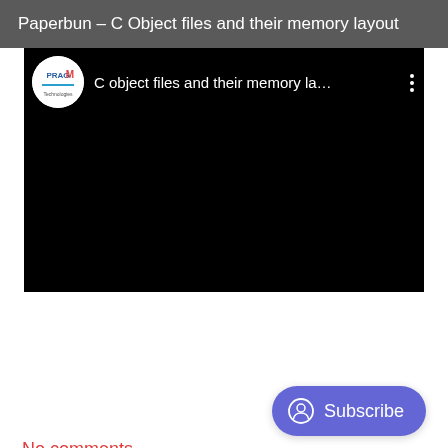Paperbun – C Object files and their memory layout
[Figure (screenshot): Embedded video player (black screen) with Pragim Technologies channel logo and title 'C object files and their memory la...' and a three-dot menu icon]
Subscribe
No comments